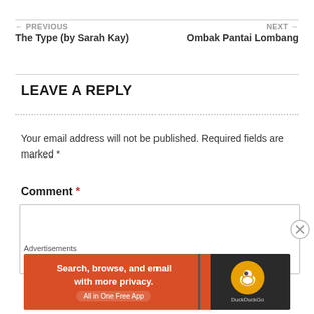← PREVIOUS
The Type (by Sarah Kay)
NEXT →
Ombak Pantai Lombang
LEAVE A REPLY
Your email address will not be published. Required fields are marked *
Comment *
Advertisements